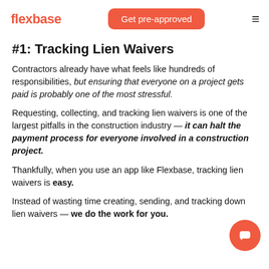flexbase | Get pre-approved | ≡
#1: Tracking Lien Waivers
Contractors already have what feels like hundreds of responsibilities, but ensuring that everyone on a project gets paid is probably one of the most stressful.
Requesting, collecting, and tracking lien waivers is one of the largest pitfalls in the construction industry — it can halt the payment process for everyone involved in a construction project.
Thankfully, when you use an app like Flexbase, tracking lien waivers is easy.
Instead of wasting time creating, sending, and tracking down lien waivers — we do the work for you.